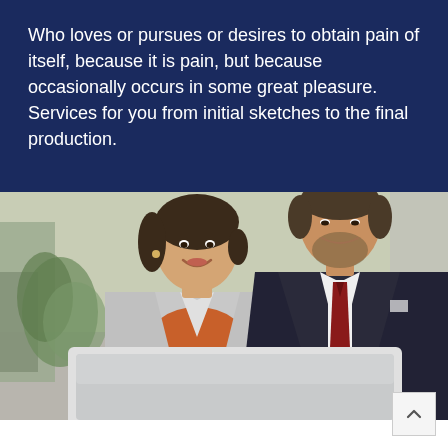Who loves or pursues or desires to obtain pain of itself, because it is pain, but because occasionally occurs in some great pleasure. Services for you from initial sketches to the final production.
[Figure (photo): Two business professionals, a woman in a light grey blazer and orange top and a man in a dark suit with a red tie, smiling and looking at a laptop together in an office setting.]